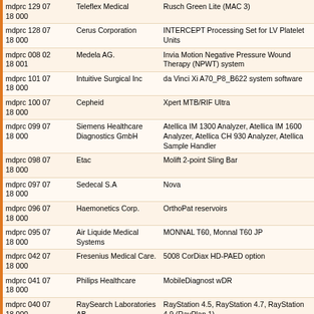| ID | Manufacturer | Product |
| --- | --- | --- |
| mdprc 129 07
18 000 | Teleflex Medical | Rusch Green Lite (MAC 3) |
| mdprc 128 07
18 000 | Cerus Corporation | INTERCEPT Processing Set for LV Platelet Units |
| mdprc 008 02
18 001 | Medela AG. | Invia Motion Negative Pressure Wound Therapy (NPWT) system |
| mdprc 101 07
18 000 | Intuitive Surgical Inc | da Vinci Xi A70_P8_B622 system software |
| mdprc 100 07
18 000 | Cepheid | Xpert MTB/RIF Ultra |
| mdprc 099 07
18 000 | Siemens Healthcare Diagnostics GmbH | Atellica IM 1300 Analyzer, Atellica IM 1600 Analyzer, Atellica CH 930 Analyzer, Atellica Sample Handler |
| mdprc 098 07
18 000 | Etac | Molift 2-point Sling Bar |
| mdprc 097 07
18 000 | Sedecal S.A | Nova |
| mdprc 096 07
18 000 | Haemonetics Corp. | OrthoPat reservoirs |
| mdprc 095 07
18 000 | Air Liquide Medical Systems | MONNAL T60, Monnal T60 JP |
| mdprc 042 07
18 000 | Fresenius Medical Care. | 5008 CorDiax HD-PAED option |
| mdprc 041 07
18 000 | Philips Healthcare | MobileDiagnost wDR |
| mdprc 040 07
18 000 | RaySearch Laboratories AB | RayStation 4.5, RayStation 4.7, RayStation 4.9 (RayPlan 1), |
| mdprc 036 07
18 000 | Applimed SA | Cannula needle |
| mdprc 035 06
18 001 | Megadyne Medical Products Inc. | Mega Power Electrosurgical Generators |
| mdprc 035 07
18 000 | Olympus Winter & IBE GmbH | VISERA ELITE II VIDEO SYSTEM CENTER OLYMPUS |
| mdprc 034 07
18 000 | Radiometer America Inc | ABL800 |
| mdprc 032 07
18 000 | Schiller AG | DEFIGARD TOUCH7 |
| mdprc 041 04
... | BioFire Diagnostics Inc | FilmArray Blood Culture Identification (BCID)... |